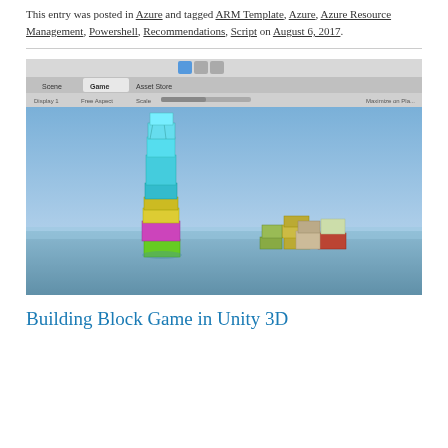This entry was posted in Azure and tagged ARM Template, Azure, Azure Resource Management, Powershell, Recommendations, Script on August 6, 2017.
[Figure (screenshot): Unity 3D Game editor screenshot showing the Game tab with colorful stacked 3D blocks/cubes on a blue ground plane. One tall tower of cyan, teal, yellow, and magenta blocks on the left, and smaller block stacks on the right.]
Building Block Game in Unity 3D